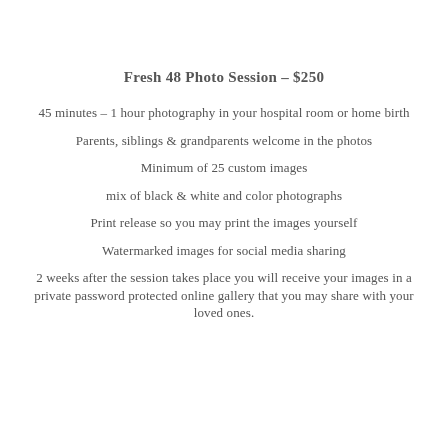Fresh 48 Photo Session – $250
45 minutes – 1 hour photography in your hospital room or home birth
Parents, siblings & grandparents welcome in the photos
Minimum of 25 custom images
mix of black & white and color photographs
Print release so you may print the images yourself
Watermarked images for social media sharing
2 weeks after the session takes place you will receive your images in a private password protected online gallery that you may share with your loved ones.